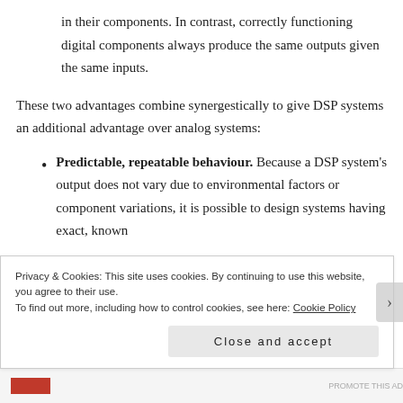in their components. In contrast, correctly functioning digital components always produce the same outputs given the same inputs.
These two advantages combine synergestically to give DSP systems an additional advantage over analog systems:
Predictable, repeatable behaviour. Because a DSP system's output does not vary due to environmental factors or component variations, it is possible to design systems having exact, known
Privacy & Cookies: This site uses cookies. By continuing to use this website, you agree to their use.
To find out more, including how to control cookies, see here: Cookie Policy
Close and accept